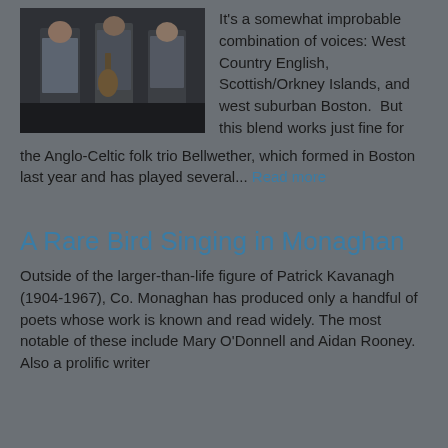[Figure (photo): Dark photo of three musicians/performers standing together, possibly playing instruments, against a dark brick background.]
It's a somewhat improbable combination of voices: West Country English, Scottish/Orkney Islands, and west suburban Boston.  But this blend works just fine for the Anglo-Celtic folk trio Bellwether, which formed in Boston last year and has played several... Read more
A Rare Bird Singing in Monaghan
Outside of the larger-than-life figure of Patrick Kavanagh (1904-1967), Co. Monaghan has produced only a handful of poets whose work is known and read widely. The most notable of these include Mary O'Donnell and Aidan Rooney. Also a prolific writer